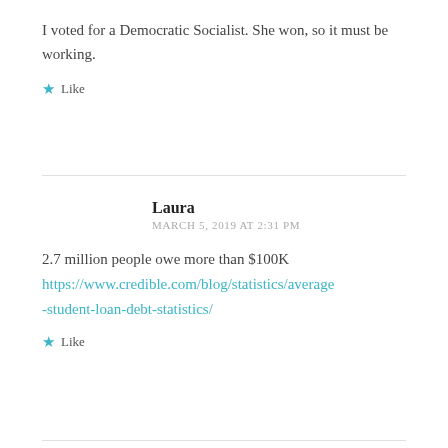I voted for a Democratic Socialist. She won, so it must be working.
★ Like
Laura
MARCH 5, 2019 AT 2:31 PM
2.7 million people owe more than $100K https://www.credible.com/blog/statistics/average-student-loan-debt-statistics/
★ Like